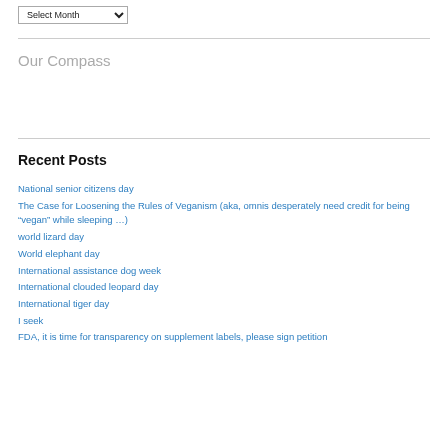Select Month (dropdown)
Our Compass
Recent Posts
National senior citizens day
The Case for Loosening the Rules of Veganism (aka, omnis desperately need credit for being “vegan” while sleeping …)
world lizard day
World elephant day
International assistance dog week
International clouded leopard day
International tiger day
I seek
FDA, it is time for transparency on supplement labels, please sign petition